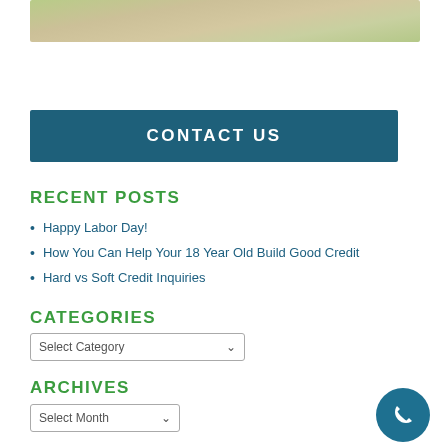[Figure (photo): Partial outdoor photo showing grass/dirt area at top of page]
CONTACT US
RECENT POSTS
Happy Labor Day!
How You Can Help Your 18 Year Old Build Good Credit
Hard vs Soft Credit Inquiries
CATEGORIES
Select Category
ARCHIVES
Select Month